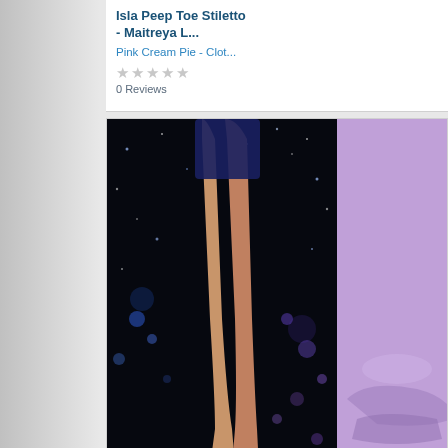Isla Peep Toe Stiletto - Maitreya L...
Pink Cream Pie - Clot...
0 Reviews
[Figure (photo): Photo of stiletto shoes/legs on dark starry background]
Isla Peep Toe Stiletto [Lavender] - Maitr...
Pink Cream Pie - Clot...
0 Reviews
[Figure (photo): Partial photo of second product listing at bottom]